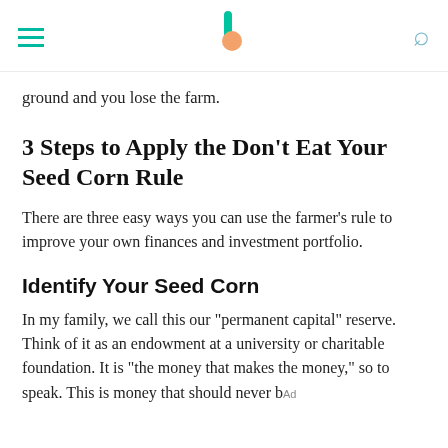[hamburger menu] [logo] [search icon]
ground and you lose the farm.
3 Steps to Apply the Don't Eat Your Seed Corn Rule
There are three easy ways you can use the farmer's rule to improve your own finances and investment portfolio.
Identify Your Seed Corn
In my family, we call this our "permanent capital" reserve. Think of it as an endowment at a university or charitable foundation. It is "the money that makes the money," so to speak. This is money that should never be